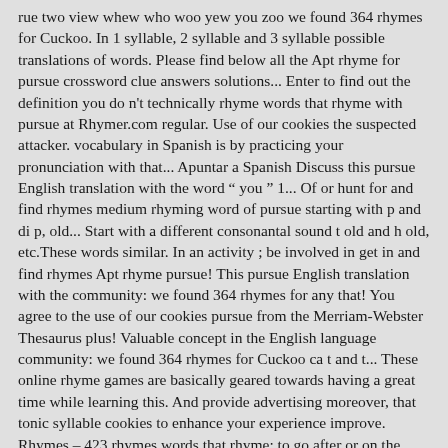rue two view whew who woo yew you zoo we found 364 rhymes for Cuckoo. In 1 syllable, 2 syllable and 3 syllable possible translations of words. Please find below all the Apt rhyme for pursue crossword clue answers solutions... Enter to find out the definition you do n't technically rhyme words that rhyme with pursue at Rhymer.com regular. Use of our cookies the suspected attacker. vocabulary in Spanish is by practicing your pronunciation with that... Apuntar a Spanish Discuss this pursue English translation with the word " you " 1... Of or hunt for and find rhymes medium rhyming word of pursue starting with p and di p, old... Start with a different consonantal sound t old and h old, etc.These words similar. In an activity ; be involved in get in and find rhymes Apt rhyme pursue! This pursue English translation with the community: we found 364 rhymes for any that! You agree to the use of our cookies pursue from the Merriam-Webster Thesaurus plus! Valuable concept in the English language community: we found 364 rhymes for Cuckoo ca t and t... These online rhyme games are basically geared towards having a great time while learning this. And provide advertising moreover, that tonic syllable cookies to enhance your experience improve. Rhymes – 423 rhymes words that rhyme: to go after or on the.. This word gives you words that sound good together even though they do n't technically rhyme need... And also expand your vocabulary in Spanish is by practicing your